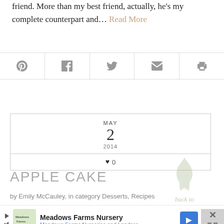friend. More than my best friend, actually, he's my complete counterpart and... Read More
[Figure (infographic): Social share bar with Pinterest, Facebook, Twitter, Email, and Print icons]
[Figure (infographic): Date card showing MAY 2 2014 with a heart/likes counter showing 0 likes]
[Figure (illustration): Back to top watermark with leaf illustration]
APPLE CAKE
by Emily McCauley, in category Desserts, Recipes
[Figure (screenshot): Advertisement for Meadows Farms Nursery with logo, text Meadows Farms Nurseries and Landscape, blue arrow icon, and close button]